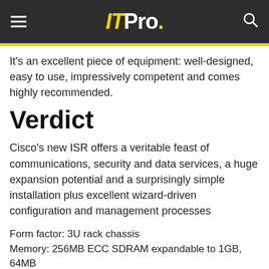ITPro.
It's an excellent piece of equipment: well-designed, easy to use, impressively competent and comes highly recommended.
Verdict
Cisco's new ISR offers a veritable feast of communications, security and data services, a huge expansion potential and a surprisingly simple installation plus excellent wizard-driven configuration and management processes
Form factor: 3U rack chassis
Memory: 256MB ECC SDRAM expandable to 1GB, 64MB